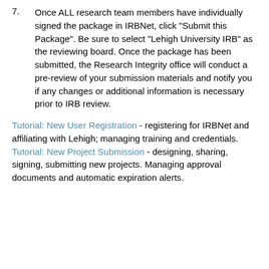7. Once ALL research team members have individually signed the package in IRBNet, click "Submit this Package". Be sure to select "Lehigh University IRB" as the reviewing board. Once the package has been submitted, the Research Integrity office will conduct a pre-review of your submission materials and notify you if any changes or additional information is necessary prior to IRB review.
Tutorial: New User Registration - registering for IRBNet and affiliating with Lehigh; managing training and credentials. Tutorial: New Project Submission - designing, sharing, signing, submitting new projects. Managing approval documents and automatic expiration alerts.